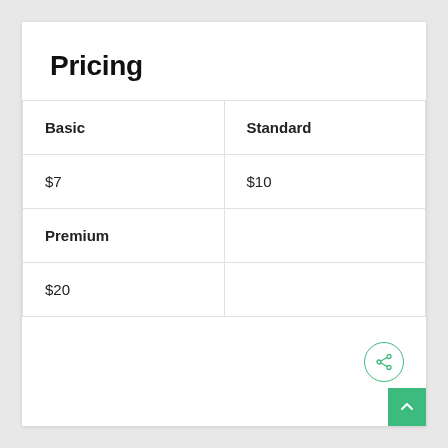Pricing
| Basic | Standard |
| $7 | $10 |
| Premium |  |
| $20 |  |